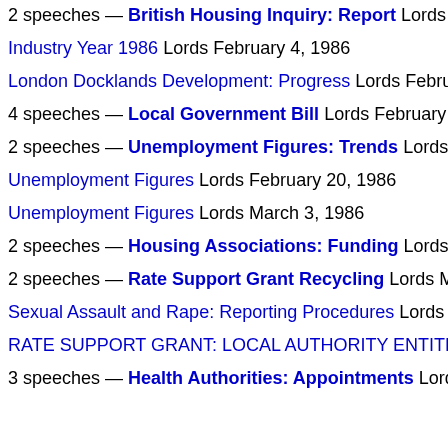2 speeches — British Housing Inquiry: Report Lords Janua
Industry Year 1986 Lords February 4, 1986
London Docklands Development: Progress Lords February 6,
4 speeches — Local Government Bill Lords February 18, 19
2 speeches — Unemployment Figures: Trends Lords Februa
Unemployment Figures Lords February 20, 1986
Unemployment Figures Lords March 3, 1986
2 speeches — Housing Associations: Funding Lords March
2 speeches — Rate Support Grant Recycling Lords March 5
Sexual Assault and Rape: Reporting Procedures Lords March
RATE SUPPORT GRANT: LOCAL AUTHORITY ENTITLEMEN
3 speeches — Health Authorities: Appointments Lords Marc